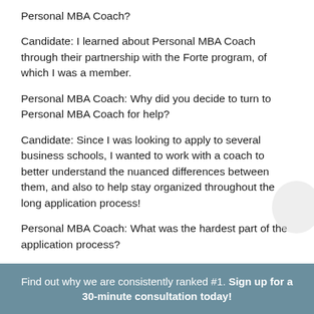Personal MBA Coach?
Candidate: I learned about Personal MBA Coach through their partnership with the Forte program, of which I was a member.
Personal MBA Coach: Why did you decide to turn to Personal MBA Coach for help?
Candidate: Since I was looking to apply to several business schools, I wanted to work with a coach to better understand the nuanced differences between them, and also to help stay organized throughout the long application process!
Personal MBA Coach: What was the hardest part of the application process?
Candidate: The hardest part of the application
Find out why we are consistently ranked #1. Sign up for a 30-minute consultation today!